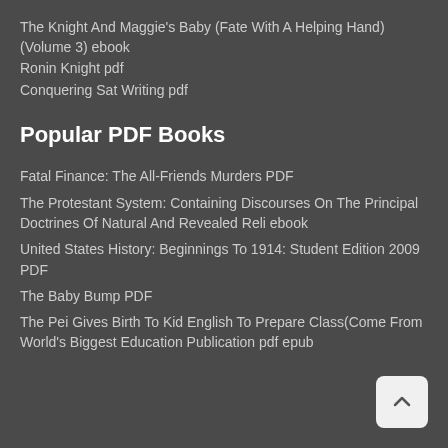The Knight And Maggie's Baby (Fate With A Helping Hand) (Volume 3) ebook
Ronin Knight pdf
Conquering Sat Writing pdf
Popular PDF Books
Fatal Finance: The All-Friends Murders PDF
The Protestant System: Containing Discourses On The Principal Doctrines Of Natural And Revealed Reli ebook
United States History: Beginnings To 1914: Student Edition 2009 PDF
The Baby Bump PDF
The Pei Gives Birth To Kid English To Prepare Class(Come From World's Biggest Education Publication pdf epub